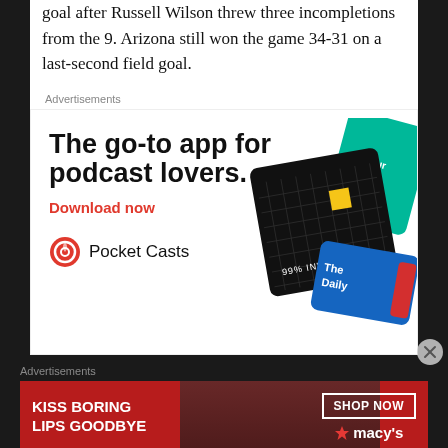goal after Russell Wilson threw three incompletions from the 9. Arizona still won the game 34-31 on a last-second field goal.
Advertisements
[Figure (screenshot): Pocket Casts podcast app advertisement featuring bold headline 'The go-to app for podcast lovers.' with a red 'Download now' link and podcast card images including 99% Invisible and The Daily]
Advertisements
[Figure (screenshot): Macy's advertisement with red background showing 'KISS BORING LIPS GOODBYE' text, SHOP NOW button, Macy's star logo, and a woman's face with red lipstick]